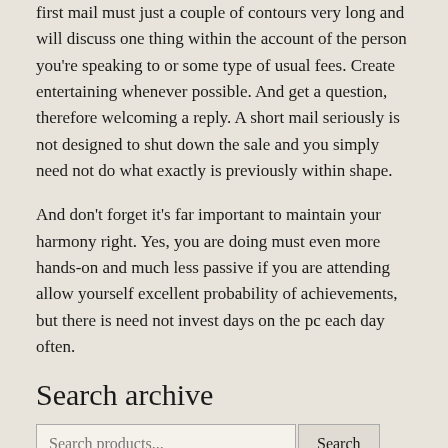first mail must just a couple of contours very long and will discuss one thing within the account of the person you're speaking to or some type of usual fees. Create entertaining whenever possible. And get a question, therefore welcoming a reply. A short mail seriously is not designed to shut down the sale and you simply need not do what exactly is previously within shape.
And don't forget it's far important to maintain your harmony right. Yes, you are doing must even more hands-on and much less passive if you are attending allow yourself excellent probability of achievements, but there is need not invest days on the pc each day often.
Search archive
Search products... Search
Free articles
We have a range of articles downloadable as PDFs free of charge (including a number in the Scholarly Resources archive). Visit our free downloads page for one-click downloads that do not require a login.